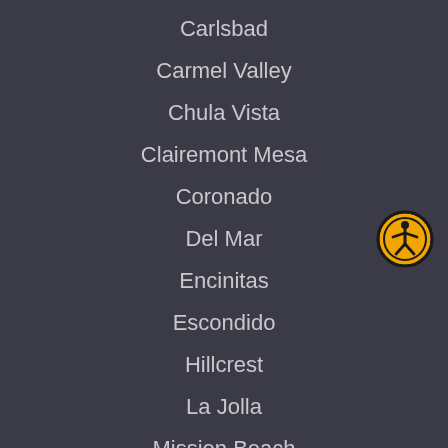Carlsbad
Carmel Valley
Chula Vista
Clairemont Mesa
Coronado
Del Mar
Encinitas
Escondido
Hillcrest
La Jolla
Mission Beach
Ocean Beach
Oceanside
Pacific Beach
Point Loma
Poway
Rancho Bernardo
[Figure (illustration): Accessibility icon: circular yellow/orange badge with a human figure (person with arms outstretched) in black, outlined by a black circle ring.]